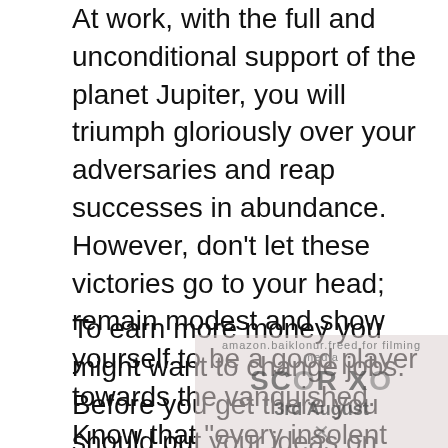At work, with the full and unconditional support of the planet Jupiter, you will triumph gloriously over your adversaries and reap successes in abundance. However, don't let these victories go to your head; remain modest and show yourself to be a good player towards the vanquished. Know that “every insolent winner at his loss works.”
To earn more money you might want to change jobs. Before you get there you should put your ideas on paper so that you can then try to make them happen. The stars promise
[Figure (other): Partially visible overlay/watermark image showing text 'SCORXO', '3rd August', and an X symbol over the lower portion of the page content]